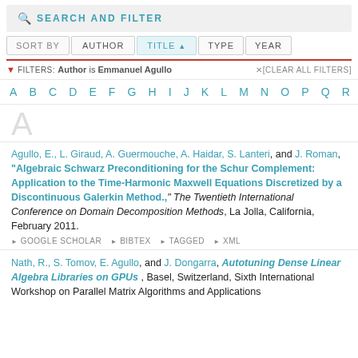SEARCH AND FILTER
SORT BY  AUTHOR  TITLE ▲  TYPE  YEAR
FILTERS: Author is Emmanuel Agullo  ✕ [CLEAR ALL FILTERS]
A B C D E F G H I J K L M N O P Q R
A
Agullo, E., L. Giraud, A. Guermouche, A. Haidar, S. Lanteri, and J. Roman, "Algebraic Schwarz Preconditioning for the Schur Complement: Application to the Time-Harmonic Maxwell Equations Discretized by a Discontinuous Galerkin Method.," The Twentieth International Conference on Domain Decomposition Methods, La Jolla, California, February 2011.
▶ GOOGLE SCHOLAR  ▶ BIBTEX  ▶ TAGGED  ▶ XML
Nath, R., S. Tomov, E. Agullo, and J. Dongarra, Autotuning Dense Linear Algebra Libraries on GPUs, Basel, Switzerland, Sixth International Workshop on Parallel Matrix Algorithms and Applications